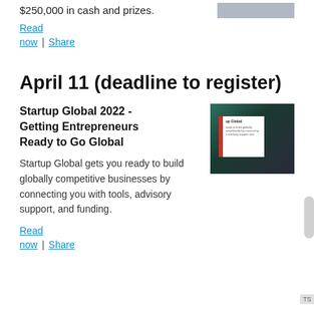$250,000 in cash and prizes.
Read
now  |  Share
April 11 (deadline to register)
Startup Global 2022 - Getting Entrepreneurs Ready to Go Global
[Figure (photo): Photo showing a book/card for Startup Global program with green background and person in background]
Startup Global gets you ready to build globally competitive businesses by connecting you with tools, advisory support, and funding.
Read
now  |  Share